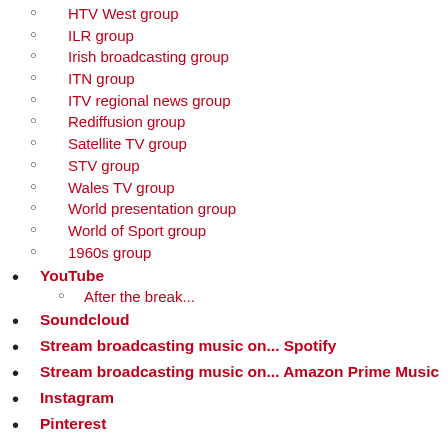HTV West group
ILR group
Irish broadcasting group
ITN group
ITV regional news group
Rediffusion group
Satellite TV group
STV group
Wales TV group
World presentation group
World of Sport group
1960s group
YouTube
After the break...
Soundcloud
Stream broadcasting music on... Spotify
Stream broadcasting music on... Amazon Prime Music
Instagram
Pinterest